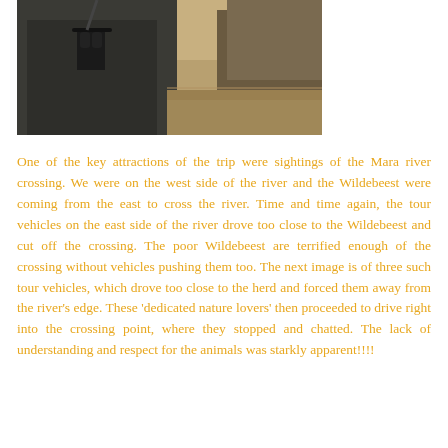[Figure (photo): Two people outdoors, one wearing dark jacket with binoculars strapped across chest, partially visible second person, arid landscape in background]
One of the key attractions of the trip were sightings of the Mara river crossing. We were on the west side of the river and the Wildebeest were coming from the east to cross the river. Time and time again, the tour vehicles on the east side of the river drove too close to the Wildebeest and cut off the crossing. The poor Wildebeest are terrified enough of the crossing without vehicles pushing them too. The next image is of three such tour vehicles, which drove too close to the herd and forced them away from the river's edge. These 'dedicated nature lovers' then proceeded to drive right into the crossing point, where they stopped and chatted. The lack of understanding and respect for the animals was starkly apparent!!!!